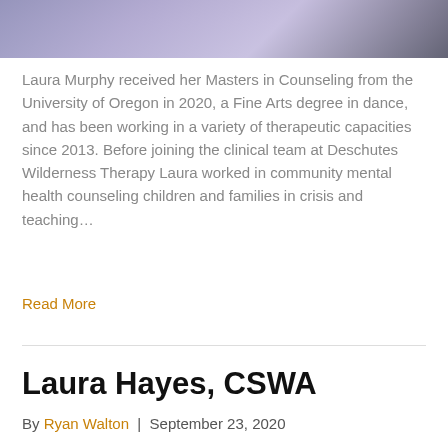[Figure (photo): Partial photo of a person wearing a light purple/lavender shirt, cropped at the top of the page]
Laura Murphy received her Masters in Counseling from the University of Oregon in 2020, a Fine Arts degree in dance, and has been working in a variety of therapeutic capacities since 2013. Before joining the clinical team at Deschutes Wilderness Therapy Laura worked in community mental health counseling children and families in crisis and teaching…
Read More
Laura Hayes, CSWA
By Ryan Walton | September 23, 2020